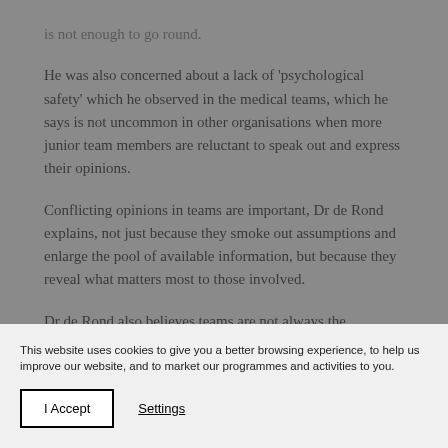is not enough to go round.
He was also concerned about a lack of 'psychological safety' which he observed in the medical teams, which he says is not uncommon in other organisations when more junior team members are reluctant to speak out and express their opinions.
Conflicting opinions in teams are important, Dr de Rond explains, not just because they smoke out assumptions and enlarge the pool of available information, but because they reveal what matters most to those involved.
Dr de Rond also believes teams are not always the
This website uses cookies to give you a better browsing experience, to help us improve our website, and to market our programmes and activities to you.